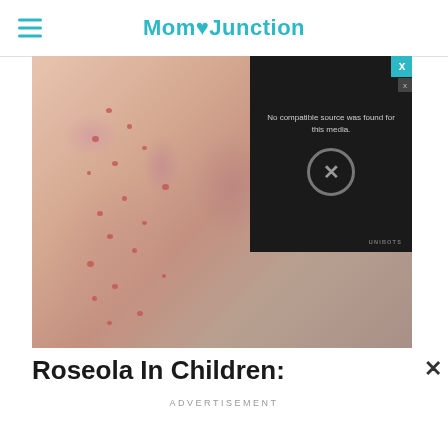MomJunction
[Figure (photo): Close-up photo of a child's arm and leg showing roseola rash — small red spots scattered across pale skin, lying on gray fabric]
[Figure (screenshot): Video player overlay showing 'No compatible source was found for this media.' with an X button and UNIBOTS branding]
Roseola In Children:
ADVERTISEMENT